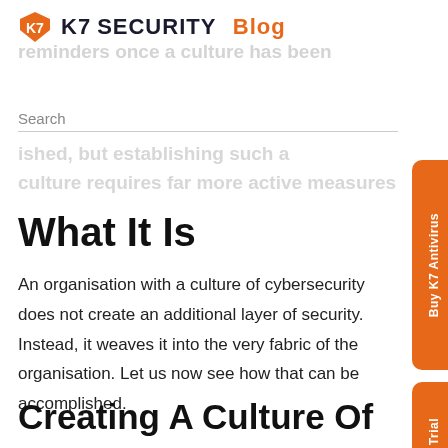K7 SECURITY Blog
reminders once a culture has been
Search
ished, but establishing such a culture requires far more active measures
What It Is
An organisation with a culture of cybersecurity does not create an additional layer of security. Instead, it weaves it into the very fabric of the organisation. Let us now see how that can be accomplished.
Creating A Culture Of